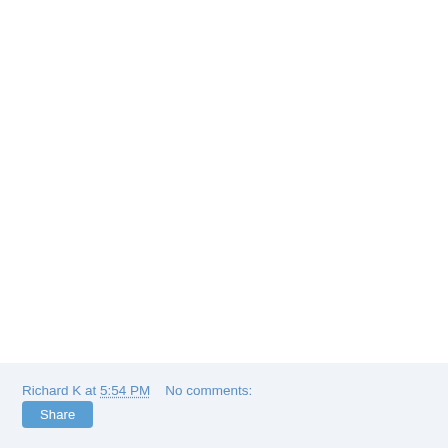Richard K at 5:54 PM    No comments:
Share